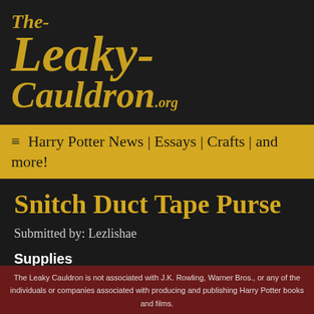[Figure (logo): The Leaky Cauldron logo in gold italic text on dark background, showing 'The-', 'Leaky-', 'Cauldron.org']
≡ Harry Potter News | Essays | Crafts | and more!
Snitch Duct Tape Purse
Submitted by: Lezlishae
Supplies
1 roll duct tape
Cardboard
The Leaky Cauldron is not associated with J.K. Rowling, Warner Bros., or any of the individuals or companies associated with producing and publishing Harry Potter books and films.